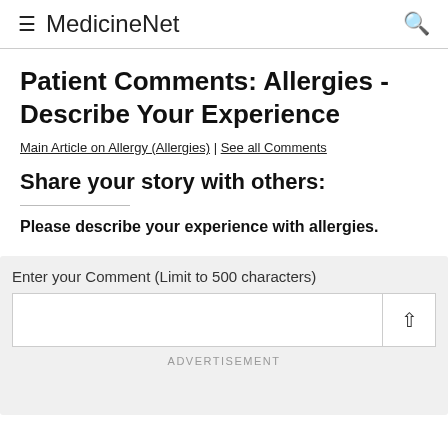≡ MedicineNet 🔍
Patient Comments: Allergies - Describe Your Experience
Main Article on Allergy (Allergies) | See all Comments
Share your story with others:
Please describe your experience with allergies.
Enter your Comment (Limit to 500 characters)
ADVERTISEMENT